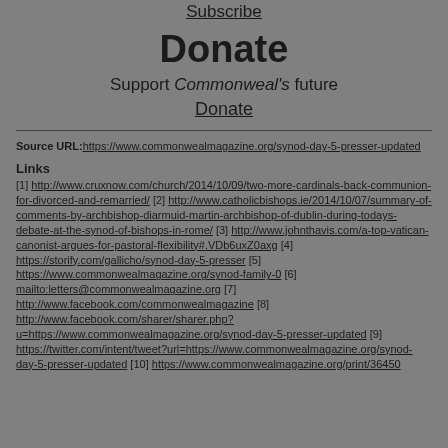Subscribe
Donate
Support Commonweal's future
Donate
Source URL: https://www.commonwealmagazine.org/synod-day-5-presser-updated
Links [1] http://www.cruxnow.com/church/2014/10/09/two-more-cardinals-back-communion-for-divorced-and-remarried/ [2] http://www.catholicbishops.ie/2014/10/07/summary-of-comments-by-archbishop-diarmuid-martin-archbishop-of-dublin-during-todays-debate-at-the-synod-of-bishops-in-rome/ [3] http://www.johnthavis.com/a-top-vatican-canonist-argues-for-pastoral-flexibility#.VDb6uxZ0axg [4] https://storify.com/gallicho/synod-day-5-presser [5] https://www.commonwealmagazine.org/synod-family-0 [6] mailto:letters@commonwealmagazine.org [7] http://www.facebook.com/commonwealmagazine [8] http://www.facebook.com/sharer/sharer.php?u=https://www.commonwealmagazine.org/synod-day-5-presser-updated [9] https://twitter.com/intent/tweet?url=https://www.commonwealmagazine.org/synod-day-5-presser-updated [10] https://www.commonwealmagazine.org/print/36450